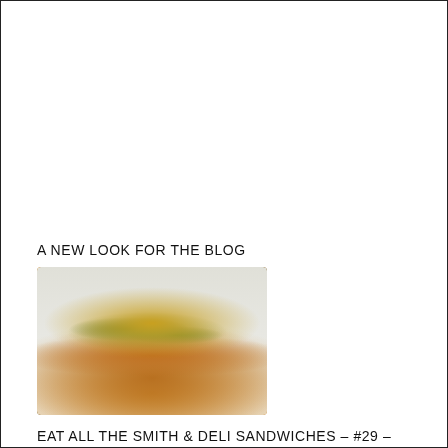A NEW LOOK FOR THE BLOG
[Figure (photo): Photo of a sandwich on a hoagie roll with green peppers and brown sauce, placed on white paper]
EAT ALL THE SMITH & DELI SANDWICHES – #29 – BACK TO THE BEGINNING – HOME ALONE